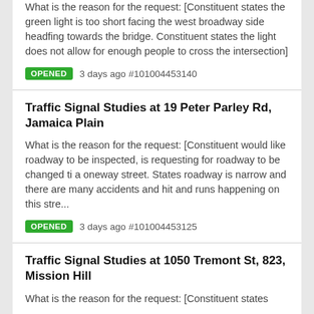What is the reason for the request: [Constituent states the green light is too short facing the west broadway side headfing towards the bridge. Constituent states the light does not allow for enough people to cross the intersection]
OPENED  3 days ago #101004453140
Traffic Signal Studies at 19 Peter Parley Rd, Jamaica Plain
What is the reason for the request: [Constituent would like roadway to be inspected, is requesting for roadway to be changed ti a oneway street. States roadway is narrow and there are many accidents and hit and runs happening on this stre...
OPENED  3 days ago #101004453125
Traffic Signal Studies at 1050 Tremont St, 823, Mission Hill
What is the reason for the request: [Constituent states